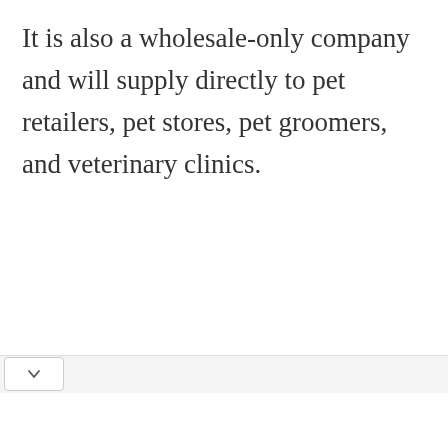It is also a wholesale-only company and will supply directly to pet retailers, pet stores, pet groomers, and veterinary clinics.